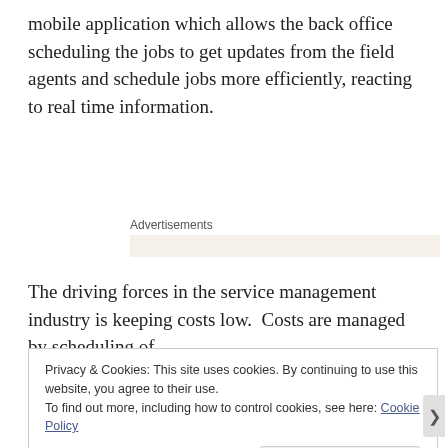mobile application which allows the back office scheduling the jobs to get updates from the field agents and schedule jobs more efficiently, reacting to real time information.
Advertisements
The driving forces in the service management industry is keeping costs low.  Costs are managed by scheduling of
Privacy & Cookies: This site uses cookies. By continuing to use this website, you agree to their use.
To find out more, including how to control cookies, see here: Cookie Policy
Close and accept